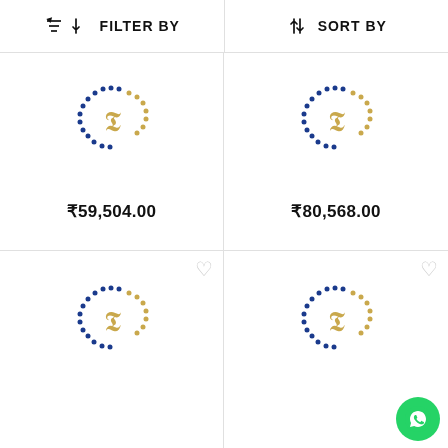FILTER BY | SORT BY
[Figure (logo): Circular bead logo with T monogram in gold, blue and gold dotted circle, product placeholder image 1]
₹59,504.00
[Figure (logo): Circular bead logo with T monogram in gold, blue and gold dotted circle, product placeholder image 2]
₹80,568.00
[Figure (logo): Circular bead logo with T monogram in gold, blue and gold dotted circle, product placeholder image 3]
[Figure (logo): Circular bead logo with T monogram in gold, blue and gold dotted circle, product placeholder image 4]